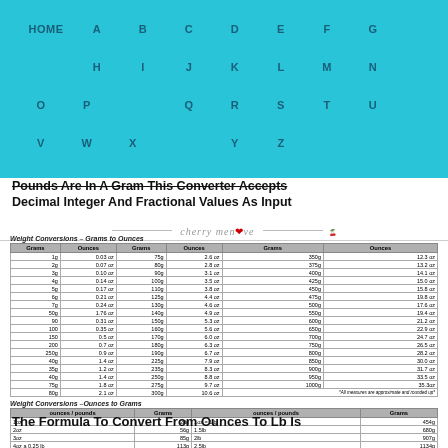HOME A B C D E F G H I J K L M N O P Q R S T U V W X Y Z
Pounds Are In A Gram This Converter Accepts Decimal Integer And Fractional Values As Input
[Figure (logo): cherry menlove logo with decorative line and red cherries graphic]
| Grams | Ounces | Grams | Ounces | Grams | Ounces |
| --- | --- | --- | --- | --- | --- |
| 1g | 0.03 oz | 75g | 2.6 oz | 350g | 12.3 oz |
| 2g | 0.07 oz | 80g | 2.8 oz | 375g | 13.2 oz |
| 3g | 0.10 oz | 90g | 3.1 oz | 400g | 14.1 oz |
| 4g | 0.14 oz | 100g | 3.5 oz | 425g | 15.0 oz |
| 5g | 0.17 oz | 110g | 3.8 oz | 450g | 15.8 oz |
| 6g | 0.21 oz | 125g | 4.4 oz | 475g | 16.7 oz |
| 7g | 0.24 oz | 130g | 4.6 oz | 500g | 17.6 oz |
| 50g | 1.76 oz | 140g | 4.9 oz | 550g | 19.4 oz |
| 90 | 0.31 oz | 150g | 5.2 oz | 600g | 21.2 oz |
| 100 | 0.35 oz | 160g | 5.6 oz | 650g | 22.9 oz |
| 150 | 0.5 oz | 170g | 6.0 oz | 700g | 24.7 oz |
| 200 | 0.7 oz | 180g | 6.3 oz | 750g | 26.5 oz |
| 250g | 0.9 oz | 190g | 6.7 oz | 800g | 28.2 oz |
| 40g | 1.4 oz | 225g | 7.9 oz | 850g | 30.0 oz |
| 35g | 1.2 oz | 235g | 8.3 oz | 900g | 31.7 oz |
| 40g | 1.4 oz | 250g | 8.8 oz | 950g | 33.5 oz |
| 75g | 1.8 oz | 275g | 9.7 oz | 1000g | 35.3oz |
| 80g | 2.1 oz | 300g | 10.6 oz | *All measures are approximate and rounded up* |  |
| Ounces / Pounds | Grams | Ounces / Pounds | Grams |
| --- | --- | --- | --- |
| 1oz | 28g | 1oz = 1lb | 454g |
| 2oz | 56g | 1.5lb | 680g |
| 3oz | 85g | 2lb | 907g |
| 4oz a 0.25 lb | 113g | 2.5lb | 1134g |
| 5oz | 142g | 3lb | 1361g |
| 6oz | 170g | 3.5lb | 1588g |
| 7oz | 198g | 4lb | 1814g |
| 8oz x 0.5lb | 222g | 4.5lb | 2041g |
| 9oz | 255g | 6lb | 3348g |
| 10oz | 283g |  |  |
| 11oz | 312g |  |  |
| 12oz x 0.75lb | 340g | *All measures are approximate and rounded up* |  |
| 13oz | 369g |  |  |
| 14oz | 397g |  |  |
| 15oz | 425g |  |  |
The Formula To Convert From Ounces To Lb Is